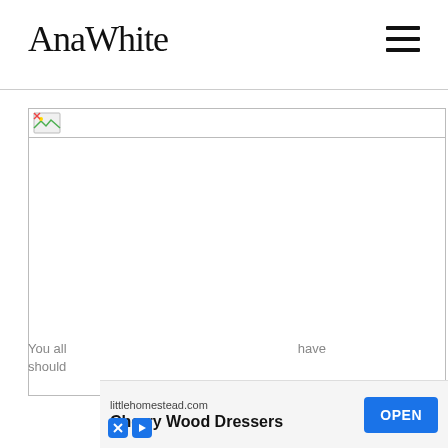AnaWhite
[Figure (photo): Broken image placeholder — a small broken image icon in the top-left of a wide image area, rest is blank white]
You all should have
[Figure (other): Advertisement banner: littlehomestead.com — Cherry Wood Dressers — OPEN button, with close/skip icons]